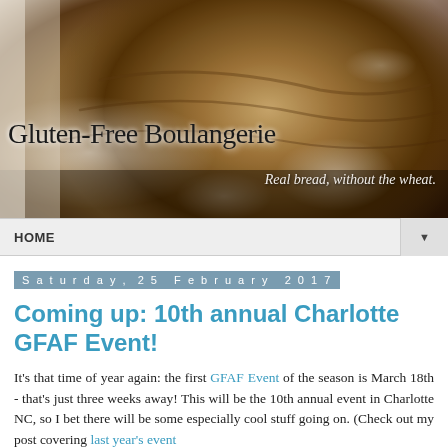[Figure (photo): Close-up photo of a rustic gluten-free bread loaf dusted with flour, used as the blog header background image]
Gluten-Free Boulangerie
Real bread, without the wheat.
HOME ▼
Saturday, 25 February 2017
Coming up: 10th annual Charlotte GFAF Event!
It's that time of year again: the first GFAF Event of the season is March 18th - that's just three weeks away! This will be the 10th annual event in Charlotte NC, so I bet there will be some especially cool stuff going on. (Check out my post covering last year's event